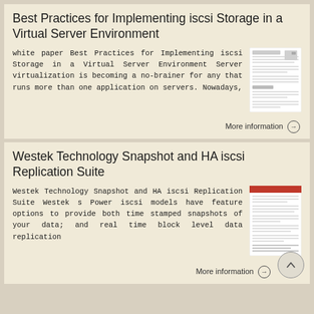Best Practices for Implementing iscsi Storage in a Virtual Server Environment
white paper Best Practices for Implementing iscsi Storage in a Virtual Server Environment Server virtualization is becoming a no-brainer for any that runs more than one application on servers. Nowadays,
[Figure (screenshot): Thumbnail image of the white paper document]
More information →
Westek Technology Snapshot and HA iscsi Replication Suite
Westek Technology Snapshot and HA iscsi Replication Suite Westek s Power iscsi models have feature options to provide both time stamped snapshots of your data; and real time block level data replication
[Figure (screenshot): Thumbnail image of the Westek Technology document]
More information →